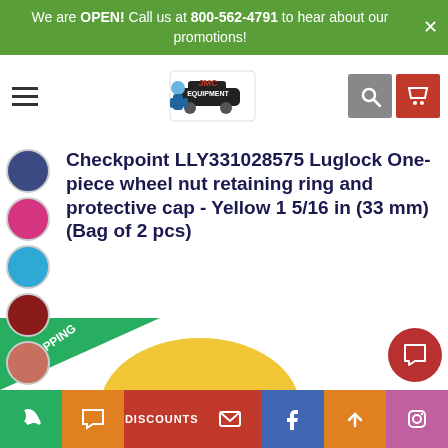We are OPEN! Call us at 800-562-4791 to hear about our promotions!
[Figure (logo): JMC Equipment auto dealer logo with mechanic character and car graphic]
Checkpoint LLY331028575 Luglock One-piece wheel nut retaining ring and protective cap - Yellow 1 5/16 in (33 mm) (Bag of 2 pcs)
Factory shipped
Brand: Checkpoint
SKU: LLY331028575
Condition: New
[Figure (photo): Product image showing yellow Luglock wheel nut retaining ring, partially visible at bottom of page]
DISCOUNTS